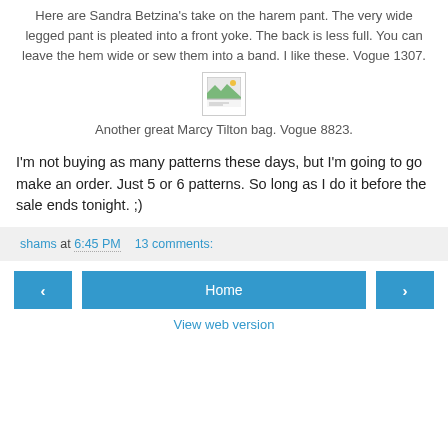Here are Sandra Betzina's take on the harem pant. The very wide legged pant is pleated into a front yoke. The back is less full. You can leave the hem wide or sew them into a band. I like these. Vogue 1307.
[Figure (photo): Small image placeholder with broken image icon]
Another great Marcy Tilton bag. Vogue 8823.
I'm not buying as many patterns these days, but I'm going to go make an order. Just 5 or 6 patterns. So long as I do it before the sale ends tonight. ;)
shams at 6:45 PM    13 comments:
< Home > View web version